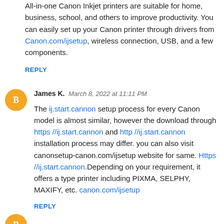All-in-one Canon Inkjet printers are suitable for home, business, school, and others to improve productivity. You can easily set up your Canon printer through drivers from Canon.com/ijsetup, wireless connection, USB, and a few components.
REPLY
James K.  March 8, 2022 at 11:11 PM
The ij.start.cannon setup process for every Canon model is almost similar, however the download through https //ij.start.cannon and http //ij.start.cannon installation process may differ. you can also visit canonsetup-canon.com/ijsetup website for same. Https //ij.start.cannon.Depending on your requirement, it offers a type printer including PIXMA, SELPHY, MAXIFY, etc. canon.com/ijsetup
REPLY